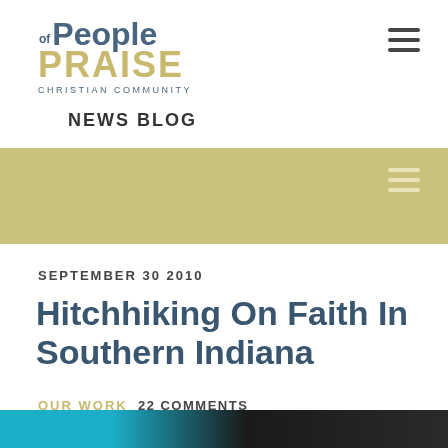[Figure (logo): People of Praise Christian Community logo with blue bold 'People', olive/gold bold 'PRAISE', small 'of' prefix, and 'CHRISTIAN COMMUNITY' subtitle]
NEWS BLOG
SEPTEMBER 30 2010
Hitchhiking On Faith In Southern Indiana
OUR WORK  22 COMMENTS
[Figure (photo): Partial photo showing teal/blue and dark background at bottom of page]